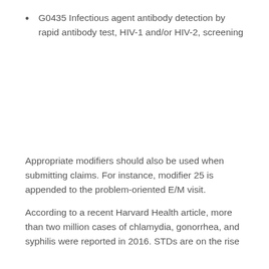G0435 Infectious agent antibody detection by rapid antibody test, HIV-1 and/or HIV-2, screening
Appropriate modifiers should also be used when submitting claims. For instance, modifier 25 is appended to the problem-oriented E/M visit.
According to a recent Harvard Health article, more than two million cases of chlamydia, gonorrhea, and syphilis were reported in 2016. STDs are on the rise